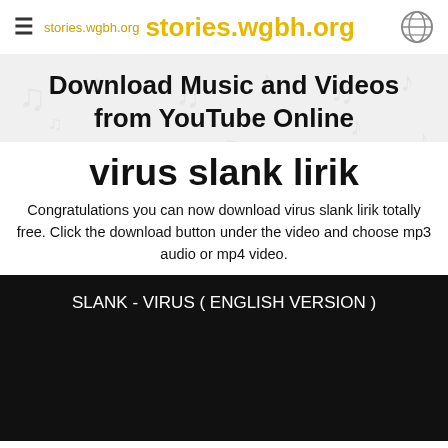stories.wgbh.org  stories.wgbh.org
Download Music and Videos from YouTube Online
virus slank lirik
Congratulations you can now download virus slank lirik totally free. Click the download button under the video and choose mp3 audio or mp4 video.
[Figure (screenshot): Black video thumbnail showing text: SLANK - VIRUS ( ENGLISH VERSION )]